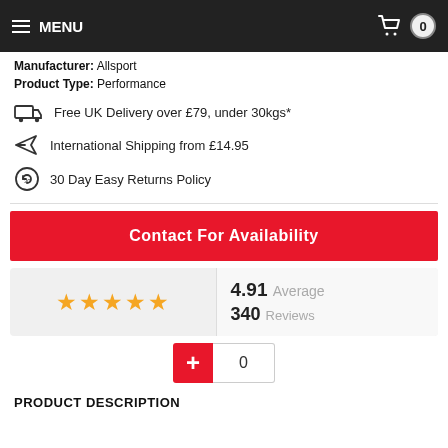MENU | Cart: 0
Manufacturer: Allsport
Product Type: Performance
Free UK Delivery over £79, under 30kgs*
International Shipping from £14.95
30 Day Easy Returns Policy
Contact For Availability
[Figure (infographic): Star rating widget showing 5 orange stars, 4.91 Average, 340 Reviews]
+ 0
PRODUCT DESCRIPTION